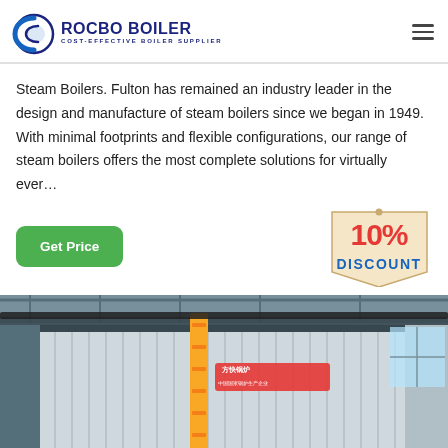[Figure (logo): Rocbo Boiler logo with circular blue icon and text 'ROCBO BOILER / COST-EFFECTIVE BOILER SUPPLIER' in dark blue]
Steam Boilers. Fulton has remained an industry leader in the design and manufacture of steam boilers since we began in 1949. With minimal footprints and flexible configurations, our range of steam boilers offers the most complete solutions for virtually ever…
[Figure (infographic): Green 'Get Price' button on the left and a 10% DISCOUNT badge on the right]
[Figure (photo): Industrial boiler equipment in a factory, showing corrugated metal cladding, yellow gas pipes, overhead steel structure, and Chinese manufacturer signage]